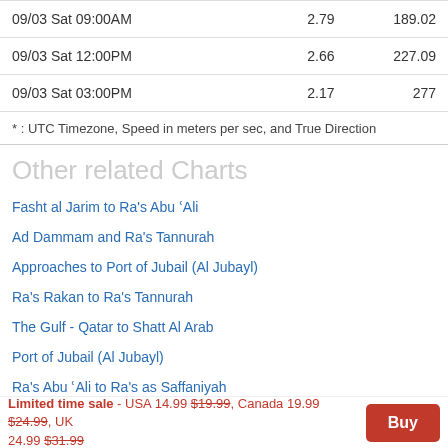| Date/Time | Speed | Direction |
| --- | --- | --- |
| 09/03 Sat 09:00AM | 2.79 | 189.02 |
| 09/03 Sat 12:00PM | 2.66 | 227.09 |
| 09/03 Sat 03:00PM | 2.17 | 277 |
* : UTC Timezone, Speed in meters per sec, and True Direction
Other related Charts
Fasht al Jarim to Ra's Abu ʿAli
Ad Dammam and Ra's Tannurah
Approaches to Port of Jubail (Al Jubayl)
Ra's Rakan to Ra's Tannurah
The Gulf - Qatar to Shatt Al Arab
Port of Jubail (Al Jubayl)
Ra's Abu ʿAli to Ra's as Saffaniyah
Ra's al Khair Port
Limited time sale - USA 14.99 $19.99, Canada 19.99 $24.99, UK 24.99 $31.99